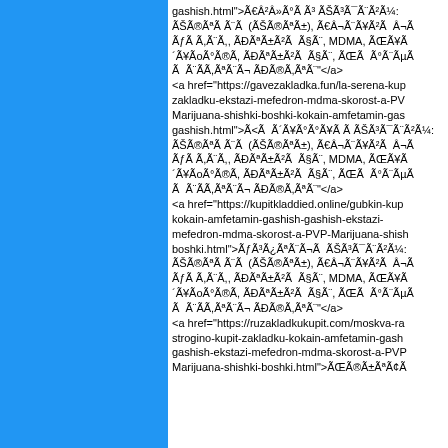gashish.html">Ã€Â²Â»Ã°Ã Ã³ ÃŠÃ³Ã¯Ã¨Ã²Ã¼: ÃŠÃ®ÃªÃ Ã¨Ã (ÃŠÃ®ÃªÃ±), Ã€Â¬Ã¨Ã¥Ã²Ã Â¬ÃƒÃ Ã,Ã¨Ã,, ÃÃªÃ±Ã²Ã ÃšÃ¨, MDMA, ÃŒÃÂ´Ã¥ÃoÃ°Ã®Ã, ÃÃªÃ±Ã²Ã ÃšÃ¨, ÃŒÃÃ°Ã¨ÃµÃ Ã Ã¨Ã,ÃªÃ¨Ã Ã ÃÃ®Ã,ÃªÃ¨</a>
<a href="https://gavezakladka.fun/la-serena-kupit-zakladku-ekstazi-mefedron-mdma-skorost-a-PVP-Marijuana-shishki-boshki-kokain-amfetamin-gashish.html">Ã<Ã Ã³Ã¥Ã°ÃÃÃ ÃŠÃ³Ã¯Ã¨Ã²Ã¼: ÃŠÃ®ÃªÃ Ã¨Ã (ÃŠÃ®ÃªÃ±), Ã€Â¬Ã¨Ã¥Ã²Ã Â¬ÃƒÃ Ã,Ã¨Ã,, ÃÃªÃ±Ã²Ã ÃšÃ¨, MDMA, ÃŒÃÂ´Ã¥ÃoÃ°Ã®Ã, ÃÃªÃ±Ã²Ã ÃšÃ¨, ÃŒÃÃ°Ã¨ÃµÃ Ã Ã¨Ã,ÃªÃ¨Ã Ã ÃÃ®Ã,ÃªÃ¨</a>
<a href="https://kupitkladdied.online/gubkin-kupit-kokain-amfetamin-gashish-gashish-ekstazi-mefedron-mdma-skorost-a-PVP-Marijuana-shishki-boshki.html">ÃƒÃ³ÃÃªÃ¨Ã ÃŠÃ³Ã¯Ã¨Ã²Ã¼: ÃŠÃ®ÃªÃ Ã¨Ã (ÃŠÃ®ÃªÃ±), Ã€Â¬Ã¨Ã¥Ã²Ã Â¬ÃƒÃ Ã,Ã¨Ã,, ÃÃªÃ±Ã²Ã ÃšÃ¨, MDMA, ÃŒÃÂ´Ã¥ÃoÃ°Ã®Ã, ÃÃªÃ±Ã²Ã ÃšÃ¨, ÃŒÃÃ°Ã¨ÃµÃ Ã Ã¨Ã,ÃªÃ¨Ã Ã ÃÃ®Ã,ÃªÃ¨</a>
<a href="https://ruzakladkukupit.com/moskva-rayon-strogino-kupit-zakladku-kokain-amfetamin-gashish-gashish-ekstazi-mefedron-mdma-skorost-a-PVP-Marijuana-shishki-boshki.html">ÃŒÃ®Ã±ÃªÃ²Ã Ã